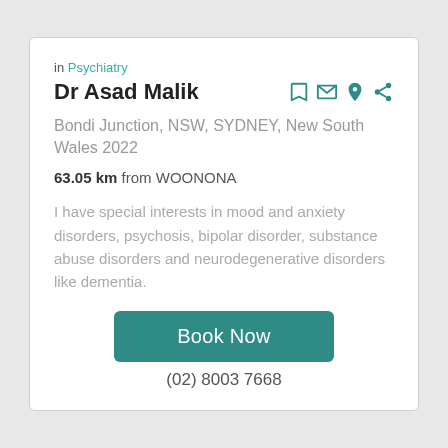in Psychiatry
Dr Asad Malik
Bondi Junction, NSW, SYDNEY, New South Wales 2022
63.05 km from WOONONA
I have special interests in mood and anxiety disorders, psychosis, bipolar disorder, substance abuse disorders and neurodegenerative disorders like dementia.
Book Now
(02) 8003 7668